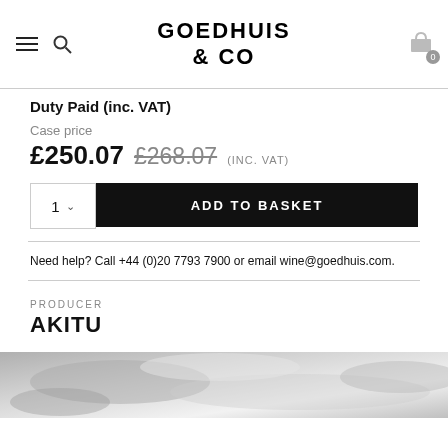GOEDHUIS & CO
Duty Paid (inc. VAT)
Case price
£250.07 £268.07 (INC. VAT)
1 | ADD TO BASKET
Need help? Call +44 (0)20 7793 7900 or email wine@goedhuis.com.
PRODUCER
AKITU
[Figure (photo): Black and white landscape/vineyard photograph (partial, cropped at bottom)]